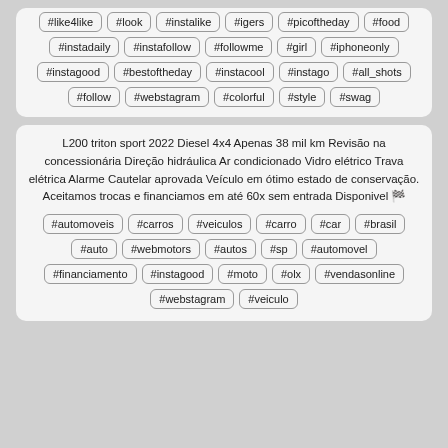#like4like #look #instalike #igers #picoftheday #food #instadaily #instafollow #followme #girl #iphoneonly #instagood #bestoftheday #instacool #instago #all_shots #follow #webstagram #colorful #style #swag
L200 triton sport 2022 Diesel 4x4 Apenas 38 mil km Revisão na concessionária Direção hidráulica Ar condicionado Vidro elétrico Trava elétrica Alarme Cautelar aprovada Veículo em ótimo estado de conservação. Aceitamos trocas e financiamos em até 60x sem entrada Disponivel 🏁
#automoveis #carros #veiculos #carro #car #brasil #auto #webmotors #autos #sp #automovel #financiamento #instagood #moto #olx #vendasonline #webstagram #veiculo